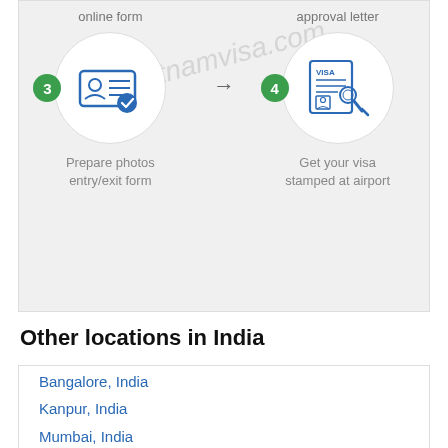[Figure (infographic): Steps 3 and 4 of Vietnam visa process. Step 3: Prepare photos entry/exit form (icon of ID card with checkmark). Step 4: Get your visa stamped at airport (icon of visa document with stamp). Connected by an arrow. Watermark: vietnamvisa.com]
Other locations in India
Bangalore, India
Kanpur, India
Mumbai, India
Nashik, India
New Delhi, India